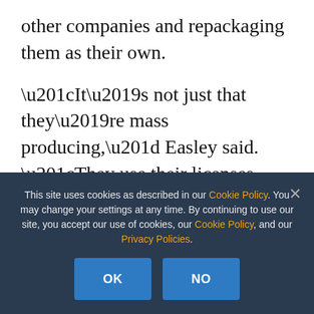other companies and repackaging them as their own.
“It’s not just that they’re mass producing,” Easley said. “They use their licenses, invest in marketing and shelf space, then loop back around and find supply.
“They won’t have consistent quality of
This site uses cookies as described in our Cookie Policy. You may change your settings at any time. By continuing to use our site, you accept our use of cookies, our Cookie Policy, and our Privacy Policies.